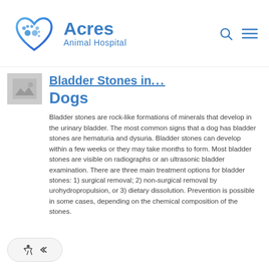[Figure (logo): Acres Animal Hospital logo with blue heart and paw prints icon, blue text 'Acres Animal Hospital']
Bladder Stones in Dogs
[Figure (photo): Small thumbnail image placeholder (grey box with mountain/image icon)]
Bladder stones are rock-like formations of minerals that develop in the urinary bladder. The most common signs that a dog has bladder stones are hematuria and dysuria. Bladder stones can develop within a few weeks or they may take months to form. Most bladder stones are visible on radiographs or an ultrasonic bladder examination. There are three main treatment options for bladder stones: 1) surgical removal; 2) non-surgical removal by urohydropropulsion, or 3) dietary dissolution. Prevention is possible in some cases, depending on the chemical composition of the stones.